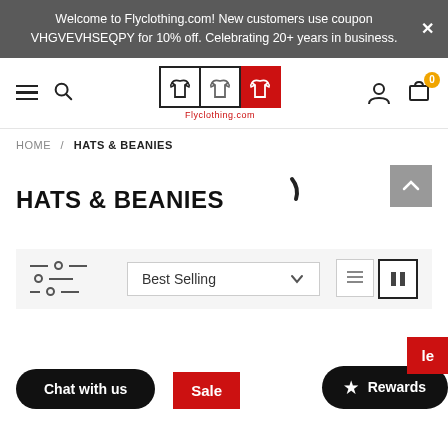Welcome to Flyclothing.com! New customers use coupon VHGVEVHSEQPY for 10% off. Celebrating 20+ years in business.
[Figure (logo): Flyclothing.com navigation bar with hamburger menu, search icon, logo with three jacket icons in black and red boxes, user icon, and cart icon with badge showing 0]
HOME / HATS & BEANIES
HATS & BEANIES
Best Selling
Chat with us
Sale
Rewards
le